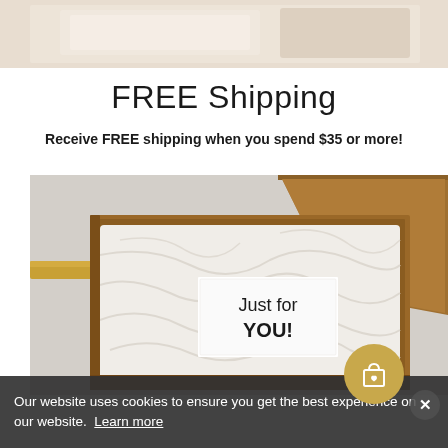[Figure (photo): Top portion of a product/packaging photo, cropped at top of page — appears to be a beige/cream background with a product partially visible]
FREE Shipping
Receive FREE shipping when you spend $35 or more!
[Figure (photo): Overhead view of an open brown cardboard gift box lined with crumpled white tissue paper, with a white card reading 'Just for YOU!' placed on top. A gold ribbon is visible on the left side.]
Our website uses cookies to ensure you get the best experience on our website.  Learn more